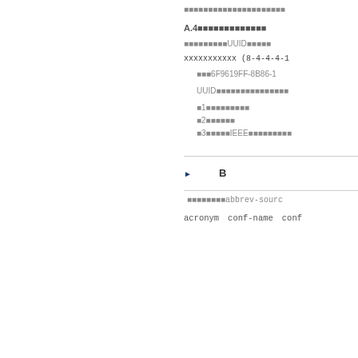■■■■■■■■■■■■■■■■■■■■■
A.4■■■■■■■■■■■■■
■■■■■■■■■UUID■■■■■
xxxxxxxxxxx (8-4-4-4-1
■■■6F9619FF-8B86-1
UUID■■■■■■■■■■■■■■■
■1■■■■■■■■■
■2■■■■■■
■3■■■■■IEEE■■■■■■■■■
■■B ■■■■■■■■
■■■■■■■■abbrev-sourc
acronym■conf-name■conf